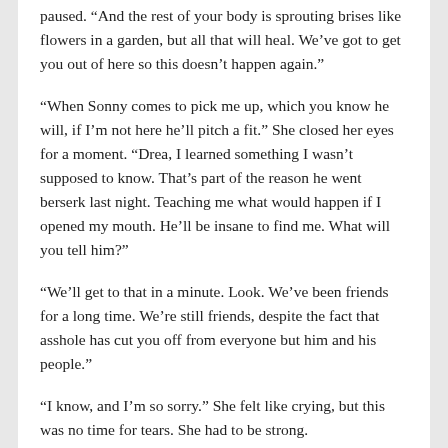paused. “And the rest of your body is sprouting brises like flowers in a garden, but all that will heal. We’ve got to get you out of here so this doesn’t happen again.”
“When Sonny comes to pick me up, which you know he will, if I’m not here he’ll pitch a fit.” She closed her eyes for a moment. “Drea, I learned something I wasn’t supposed to know. That’s part of the reason he went berserk last night. Teaching me what would happen if I opened my mouth. He’ll be insane to find me. What will you tell him?”
“We’ll get to that in a minute. Look. We’ve been friends for a long time. We’re still friends, despite the fact that asshole has cut you off from everyone but him and his people.”
“I know, and I’m so sorry.” She felt like crying, but this was no time for tears. She had to be strong.